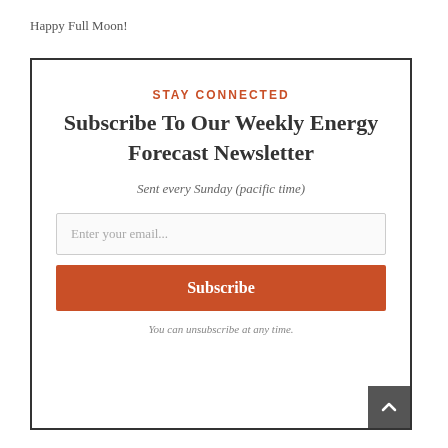Happy Full Moon!
STAY CONNECTED
Subscribe To Our Weekly Energy Forecast Newsletter
Sent every Sunday (pacific time)
Enter your email...
Subscribe
You can unsubscribe at any time.